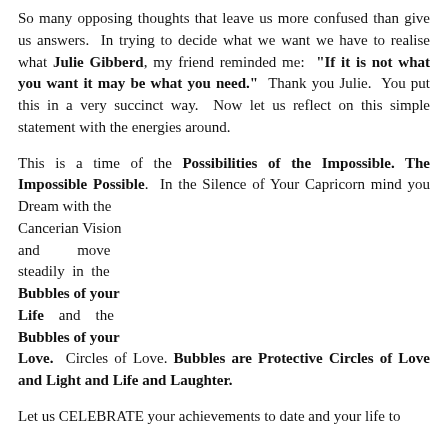So many opposing thoughts that leave us more confused than give us answers. In trying to decide what we want we have to realise what Julie Gibberd, my friend reminded me: "If it is not what you want it may be what you need." Thank you Julie. You put this in a very succinct way. Now let us reflect on this simple statement with the energies around.
This is a time of the Possibilities of the Impossible. The Impossible Possible. In the Silence of Your Capricorn mind you Dream with the Cancerian Vision and move steadily in the Bubbles of your Life and the Bubbles of your Love. Circles of Love. Bubbles are Protective Circles of Love and Light and Life and Laughter.
Let us CELEBRATE your achievements to date and your life to